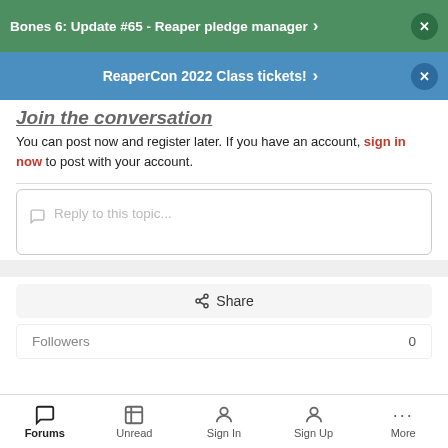Bones 6: Update #65 - Reaper pledge manager
ReaperCon 2022 Class tickets!
Join the conversation
You can post now and register later. If you have an account, sign in now to post with your account.
[Figure (screenshot): Reply to this topic text input box with speech bubble icon and placeholder text]
[Figure (screenshot): Share button area]
Followers  0
Forums  Unread  Sign In  Sign Up  More